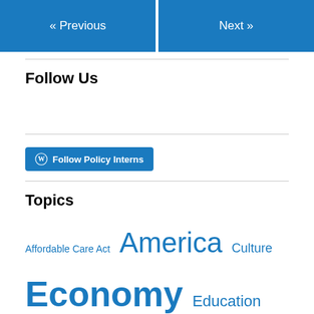« Previous   Next »
Follow Us
Follow Policy Interns
Topics
Affordable Care Act  America  Culture  Economy  Education  Energy  Fiscal policy  Foreign Policy  Gov. Officials  Healthcare  Immigration  Labor Force  National